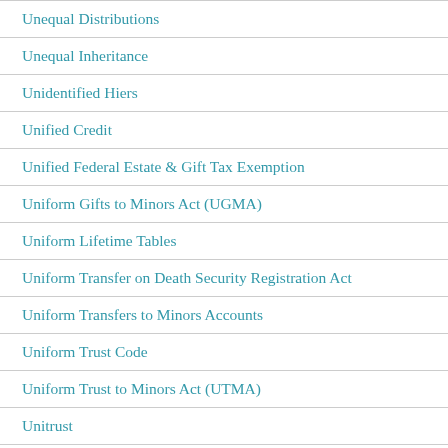Unequal Distributions
Unequal Inheritance
Unidentified Hiers
Unified Credit
Unified Federal Estate & Gift Tax Exemption
Uniform Gifts to Minors Act (UGMA)
Uniform Lifetime Tables
Uniform Transfer on Death Security Registration Act
Uniform Transfers to Minors Accounts
Uniform Trust Code
Uniform Trust to Minors Act (UTMA)
Unitrust
Unknown Child